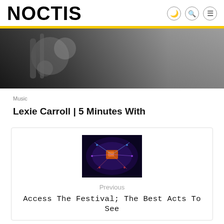NOCTIS
[Figure (photo): Black and white close-up photo, blurred background with dark tones]
Music
Lexie Carroll | 5 Minutes With
[Figure (photo): Aerial view of a concert festival venue with colorful stage lighting and crowd]
Previous
Access The Festival; The Best Acts To See